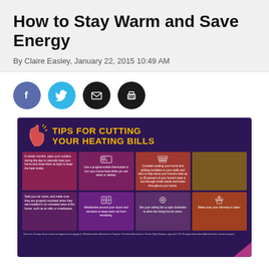How to Stay Warm and Save Energy
By Claire Easley, January 22, 2015 10:49 AM
[Figure (infographic): Infographic titled 'Tips for Cutting Your Heating Bills' on dark purple background with a pointing hand icon and orange/yellow title text. Contains 8 tip cells in a 4x2 grid with icons and small text: open curtains during day, use programmable thermostat, seal your home and add insulation, weatherstrip doors and windows, seal air ducts, weatherize windows and doors, set ceiling fan to spin clockwise, make sure chimney is clean.]